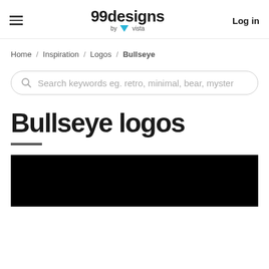99designs by vista — Log in
Home / Inspiration / Logos / Bullseye
Search keywords eg. retro, minimal, bear, myster
Bullseye logos
[Figure (photo): Black image area at bottom of page, appears to be the beginning of a logo gallery]